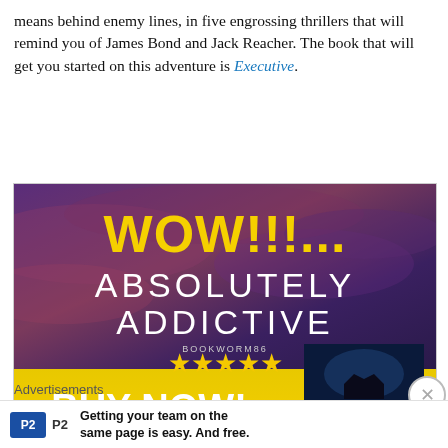means behind enemy lines, in five engrossing thrillers that will remind you of James Bond and Jack Reacher. The book that will get you started on this adventure is Executive.
[Figure (illustration): Book advertisement image with dark purple/blue cloudy sky background. Large yellow text 'WOW!!!...' at top, white text 'ABSOLUTELY ADDICTIVE' in middle, small text 'BOOKWORM86' below with five gold stars. Yellow bottom section with white text 'BUY NOW!' and 'Amazon'. Book cover image on right showing 'Beneath Black' title.]
Advertisements
Getting your team on the same page is easy. And free.